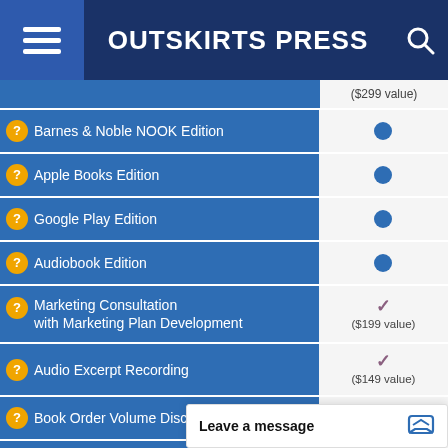OUTSKIRTS PRESS
| Feature | Value |
| --- | --- |
| ($299 value) |
| Barnes & Noble NOOK Edition | ● |
| Apple Books Edition | ● |
| Google Play Edition | ● |
| Audiobook Edition | ● |
| Marketing Consultation with Marketing Plan Development | ✓ ($199 value) |
| Audio Excerpt Recording | ✓ ($149 value) |
| Book Order Volume Discounts | ✓ |
| Book Marketing COACH | ✓ |
| Book Marketing RoadMap | ✓ |
| Book Marketing Sales S... | ✓ |
Leave a message